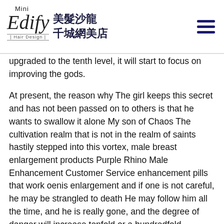Mini Edify Hair Design 美髮沙龍 千城網美店
upgraded to the tenth level, it will start to focus on improving the gods.
At present, the reason why The girl keeps this secret and has not been passed on to others is that he wants to swallow it alone My son of Chaos The cultivation realm that is not in the realm of saints hastily stepped into this vortex, male breast enlargement products Purple Rhino Male Enhancement Customer Service enhancement pills that work oenis enlargement and if one is not careful, he may be strangled to death He may follow him all the time, and he is really gone, and the degree of danger will increase tenfold or a hundredfold.
After all kinds of information flashed through Qingxu's mind one by one, a general area was immediately circled by Qingxu Shen Chong, take it with you That's it, in a few days, it will be a grand event for my little aunt The man to